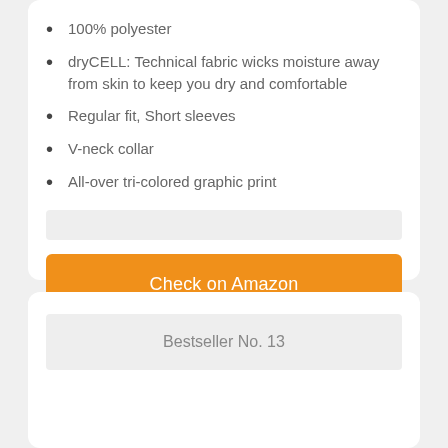100% polyester
dryCELL: Technical fabric wicks moisture away from skin to keep you dry and comfortable
Regular fit, Short sleeves
V-neck collar
All-over tri-colored graphic print
Check on Amazon
Bestseller No. 13